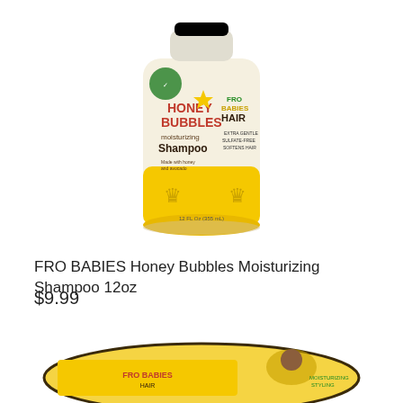[Figure (photo): FRO BABIES Honey Bubbles Moisturizing Shampoo bottle, 12oz, yellow and white with cartoon characters on label]
FRO BABIES Honey Bubbles Moisturizing Shampoo 12oz
$9.99
[Figure (photo): FRO BABIES hair product in a flat round tub/jar with yellow label, partially visible at bottom of page]